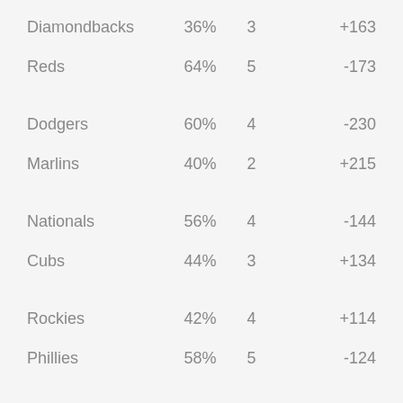| Diamondbacks | 36% | 3 | +163 |
| Reds | 64% | 5 | -173 |
| Dodgers | 60% | 4 | -230 |
| Marlins | 40% | 2 | +215 |
| Nationals | 56% | 4 | -144 |
| Cubs | 44% | 3 | +134 |
| Rockies | 42% | 4 | +114 |
| Phillies | 58% | 5 | -124 |